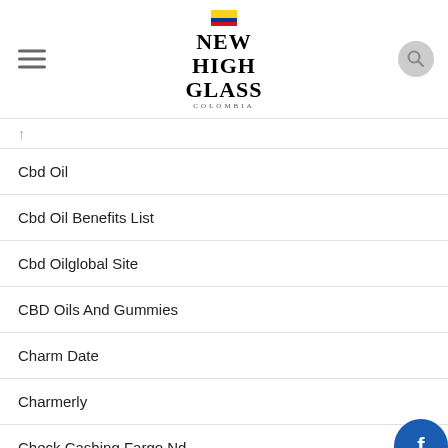New High Glass Colombia
Cbd Oil
Cbd Oil Benefits List
Cbd Oilglobal Site
CBD Oils And Gummies
Charm Date
Charmerly
Check Cashing Fargo Nd